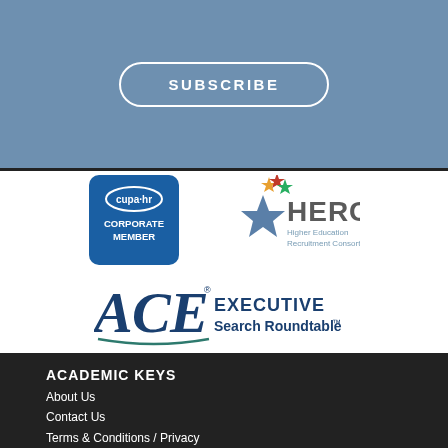SUBSCRIBE
[Figure (logo): CUPA-HR Corporate Member logo]
[Figure (logo): HERC Higher Education Recruitment Consortium logo]
[Figure (logo): ACE Executive Search Roundtable logo]
ACADEMIC KEYS
About Us
Contact Us
Terms & Conditions / Privacy
+1 860 429 0218